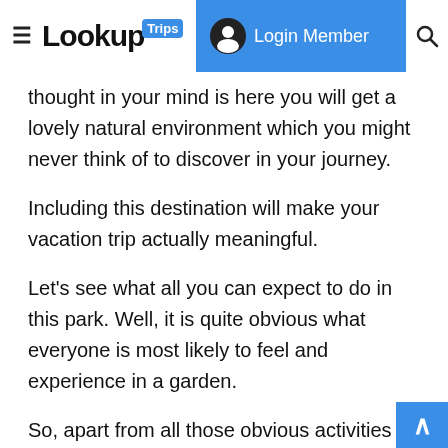LookupTrips — Login Member
thought in your mind is here you will get a lovely natural environment which you might never think of to discover in your journey.
Including this destination will make your vacation trip actually meaningful.
Let’s see what all you can expect to do in this park. Well, it is quite obvious what everyone is most likely to feel and experience in a garden.
So, apart from all those obvious activities like strolling and clicking pictures, you can here enjoy the “Camping” as well.